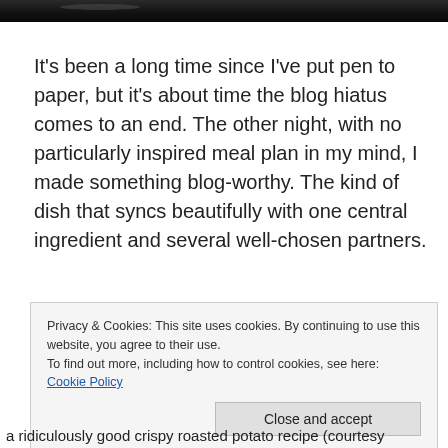[Figure (photo): Dark photo strip at top of page, partially cropped]
It's been a long time since I've put pen to paper, but it's about time the blog hiatus comes to an end. The other night, with no particularly inspired meal plan in my mind, I made something blog-worthy. The kind of dish that syncs beautifully with one central ingredient and several well-chosen partners.
Privacy & Cookies: This site uses cookies. By continuing to use this website, you agree to their use.
To find out more, including how to control cookies, see here: Cookie Policy
Close and accept
a ridiculously good crispy roasted potato recipe (courtesy